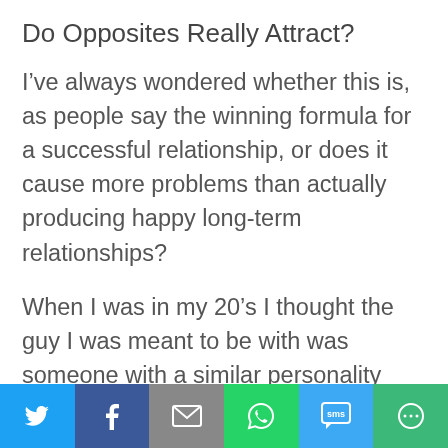Do Opposites Really Attract?
I’ve always wondered whether this is, as people say the winning formula for a successful relationship, or does it cause more problems than actually producing happy long-term relationships?
When I was in my 20’s I thought the guy I was meant to be with was someone with a similar personality and possibly background, but as I look around at the
Twitter | Facebook | Email | WhatsApp | SMS | More